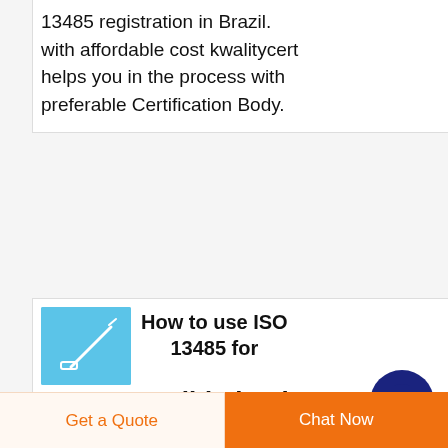13485 registration in Brazil. with affordable cost kwalitycert helps you in the process with preferable Certification Body.
[Figure (photo): Small thumbnail image with light blue background showing a medical/surgical instrument (appears to be a syringe or needle), used as article illustration.]
How to use ISO 13485 for Process Validation in the Medical
· If you are into medical device manufacturing industry, you should know how to use ISO 13485 standard to deal with process validation. This article is going to give a
[Figure (other): Dark navy blue circular scroll-to-top button with upward arrow icon.]
Get a Quote
Chat Now